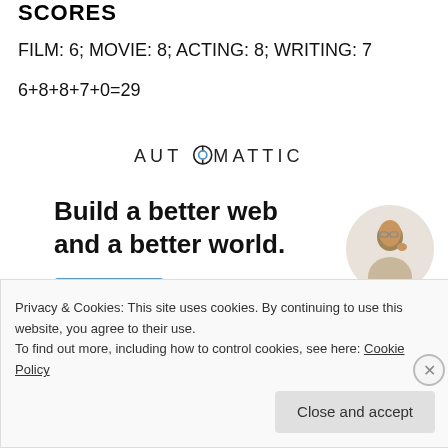SCORES
FILM: 6; MOVIE: 8; ACTING: 8; WRITING: 7
[Figure (logo): Automattic logo with compass-like O]
[Figure (infographic): Automattic ad banner: Build a better web and a better world. Apply button. Person photo in circle.]
Privacy & Cookies: This site uses cookies. By continuing to use this website, you agree to their use.
To find out more, including how to control cookies, see here: Cookie Policy
Close and accept